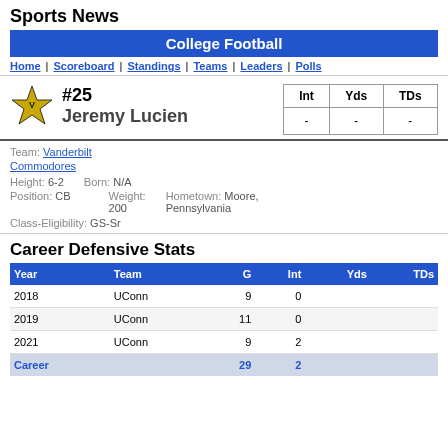Sports News
College Football
Home | Scoreboard | Standings | Teams | Leaders | Polls
#25 Jeremy Lucien
| Int | Yds | TDs |
| --- | --- | --- |
| - | - | - |
Team: Vanderbilt Commodores  Height: 6-2  Born: N/A  Position: CB  Weight: 200  Hometown: Moore, Pennsylvania  Class-Eligibility: GS-Sr
Career Defensive Stats
| Year | Team | G | Int | Yds | TDs |
| --- | --- | --- | --- | --- | --- |
| 2018 | UConn | 9 | 0 |  |  |
| 2019 | UConn | 11 | 0 |  |  |
| 2021 | UConn | 9 | 2 |  |  |
| Career |  | 29 | 2 |  |  |